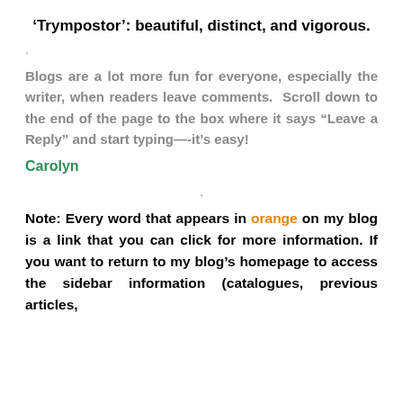'Trympostor': beautiful, distinct, and vigorous.
.
Blogs are a lot more fun for everyone, especially the writer, when readers leave comments.  Scroll down to the end of the page to the box where it says “Leave a Reply” and start typing—-it’s easy!
Carolyn
.
Note: Every word that appears in orange on my blog is a link that you can click for more information. If you want to return to my blog’s homepage to access the sidebar information (catalogues, previous articles,